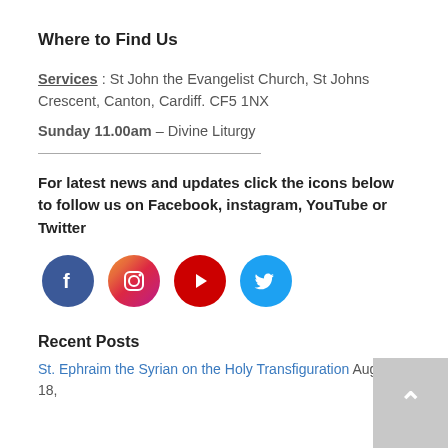Where to Find Us
Services : St John the Evangelist Church, St Johns Crescent, Canton, Cardiff. CF5 1NX
Sunday 11.00am – Divine Liturgy
For latest news and updates click the icons below to follow us on Facebook, instagram, YouTube or Twitter
[Figure (infographic): Four social media icons: Facebook (dark blue circle), Instagram (pink/purple circle), YouTube (red circle), Twitter (light blue circle)]
Recent Posts
St. Ephraim the Syrian on the Holy Transfiguration August 18,